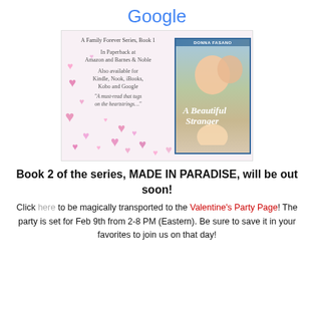Google
[Figure (illustration): Book advertisement for 'A Beautiful Stranger' by Donna Fasano, A Family Forever Series Book 1. Shows book cover with couple and baby against pink hearts background. Text includes availability info and a quote.]
Book 2 of the series, MADE IN PARADISE, will be out soon!
Click here to be magically transported to the Valentine's Party Page! The party is set for Feb 9th from 2-8 PM (Eastern). Be sure to save it in your favorites to join us on that day!